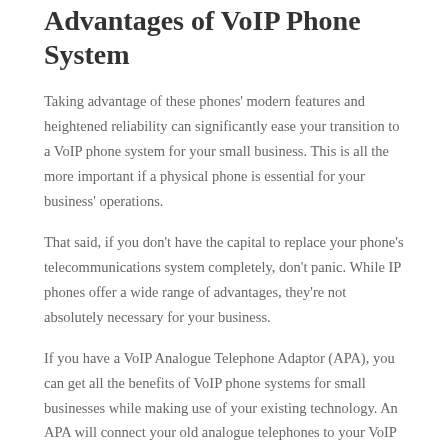Advantages of VoIP Phone System
Taking advantage of these phones' modern features and heightened reliability can significantly ease your transition to a VoIP phone system for your small business. This is all the more important if a physical phone is essential for your business' operations.
That said, if you don't have the capital to replace your phone's telecommunications system completely, don't panic. While IP phones offer a wide range of advantages, they're not absolutely necessary for your business.
If you have a VoIP Analogue Telephone Adaptor (APA), you can get all the benefits of VoIP phone systems for small businesses while making use of your existing technology. An APA will connect your old analogue telephones to your VoIP system, letting you take advantage of this future-forward offering without needing to spend hundreds or thousands on new hardware.